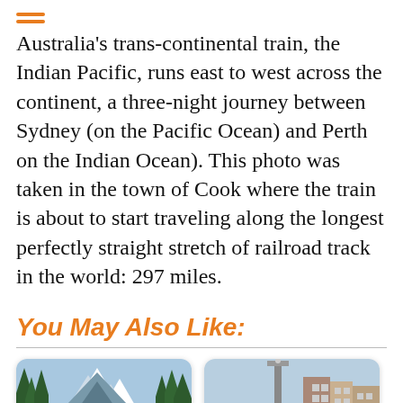Australia's trans-continental train, the Indian Pacific, runs east to west across the continent, a three-night journey between Sydney (on the Pacific Ocean) and Perth on the Indian Ocean).  This photo was taken in the town of Cook where the train is about to start traveling along the longest perfectly straight stretch of railroad track in the world: 297 miles.
You May Also Like:
[Figure (photo): Photo of a train traveling along forested mountain track with snow-capped mountain peaks in the background. A blue badge with orange 'TT' letters appears in the bottom left corner.]
[Figure (photo): Photo of a baseball stadium (appears to be Fenway Park) showing the Green Monster left field wall with Volvo advertising signage and city buildings in the background.]